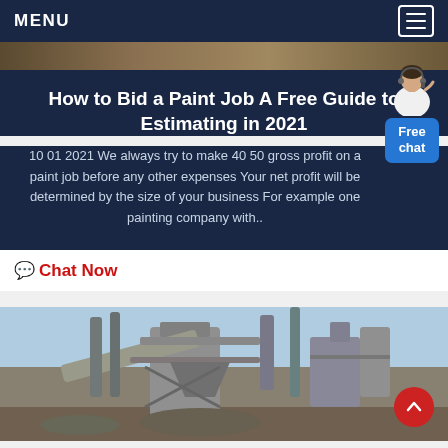MENU
[Figure (photo): Top partial image strip showing a construction or industrial scene]
How to Bid a Paint Job A Free Guide to Estimating in 2021
10 01 2021 We always try to make 40 50 gross profit on a paint job before any other expenses Your net profit will be determined by the size of your business For example one painting company with..
[Figure (illustration): Free chat widget with avatar and blue button showing Free chat]
Chat Now
[Figure (photo): Industrial machinery photo showing cement plant or mining equipment with pipes and conveyors against a blue sky]